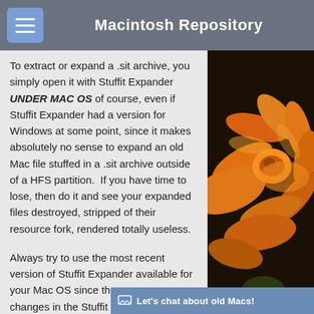Macintosh Repository
To extract or expand a .sit archive, you simply open it with Stuffit Expander UNDER MAC OS of course, even if Stuffit Expander had a version for Windows at some point, since it makes absolutely no sense to expand an old Mac file stuffed in a .sit archive outside of a HFS partition.  If you have time to lose, then do it and see your expanded files destroyed, stripped of their resource fork, rendered totally useless.
Always try to use the most recent version of Stuffit Expander available for your Mac OS since there were some changes in the Stuffit format throughout the years.  Everything on MR should be expandable using Stuffit Expander 5.5.
[Figure (photo): Close-up photo of an orange flower with petals and stamens visible, on a dark background.]
Let's chat about old Macs!